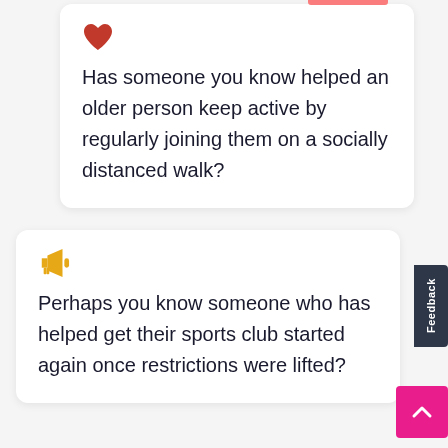[Figure (illustration): Red heart icon inside a white card]
Has someone you know helped an older person keep active by regularly joining them on a socially distanced walk?
[Figure (illustration): Yellow megaphone icon inside a white card]
Perhaps you know someone who has helped get their sports club started again once restrictions were lifted?
Feedback